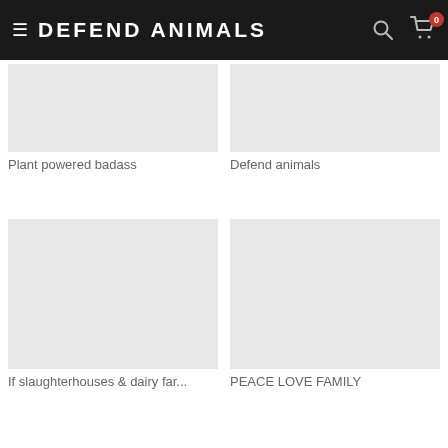DEFEND ANIMALS
Plant powered badass
Defend animals
If slaughterhouses & dairy far...
PEACE LOVE FAMILY